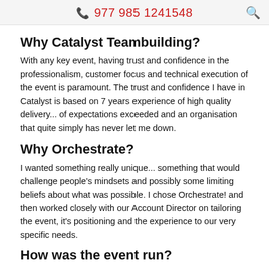977 985 1241548
Why Catalyst Teambuilding?
With any key event, having trust and confidence in the professionalism, customer focus and technical execution of the event is paramount. The trust and confidence I have in Catalyst is based on 7 years experience of high quality delivery... of expectations exceeded and an organisation that quite simply has never let me down.
Why Orchestrate?
I wanted something really unique... something that would challenge people's mindsets and possibly some limiting beliefs about what was possible. I chose Orchestrate! and then worked closely with our Account Director on tailoring the event, it's positioning and the experience to our very specific needs.
How was the event run?
We positioned the event in a deliberately low key manner, with the team of 70 sitting down thinking they were just listening to